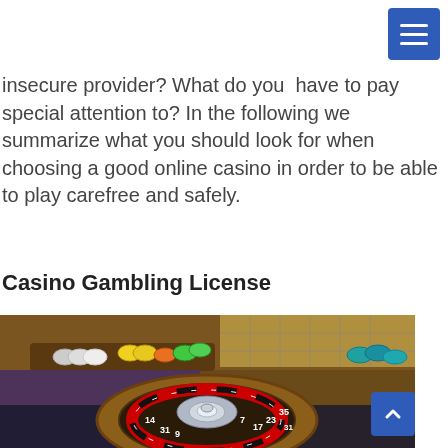insecure provider? What do you have to pay special attention to? In the following we summarize what you should look for when choosing a good online casino in order to be able to play carefree and safely.
Casino Gambling License
[Figure (photo): Close-up photo of a roulette wheel at a casino table with colorful poker chips in the background on a gaming table]